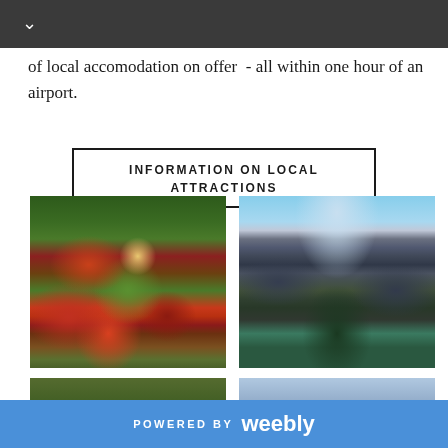of local accomodation on offer  - all within one hour of an airport.
INFORMATION ON LOCAL ATTRACTIONS
[Figure (photo): Aerial view of gardens and estate with red autumn foliage and green lawns]
[Figure (photo): Canyon with steep rocky cliffs and river below, forested slopes]
[Figure (photo): Dense forest trees viewed from below]
[Figure (photo): Rocky mountain spire or pinnacle against a partly cloudy sky]
POWERED BY weebly